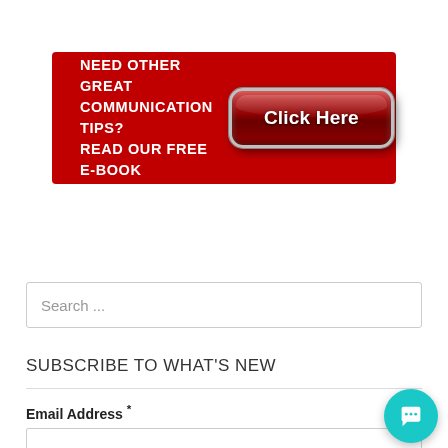[Figure (infographic): Red banner advertisement with text 'NEED OTHER GREAT COMMUNICATION TIPS? READ OUR FREE E-BOOK' on the left and a metallic red 'Click Here' button on the right]
Search ...
SUBSCRIBE TO WHAT'S NEW
Email Address *